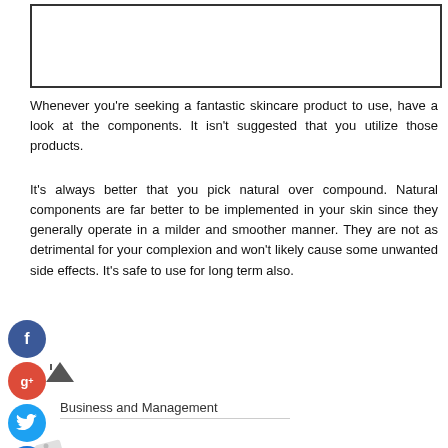[Figure (other): Empty white box with black border at top of page]
Whenever you're seeking a fantastic skincare product to use, have a look at the components. It isn't suggested that you utilize those products.
It's always better that you pick natural over compound. Natural components are far better to be implemented in your skin since they generally operate in a milder and smoother manner. They are not as detrimental for your complexion and won't likely cause some unwanted side effects. It's safe to use for long term also.
[Figure (other): Social media share icons: Facebook (blue), Google+ (red), Twitter (blue with arrow), Add/Plus (dark blue)]
Business and Management